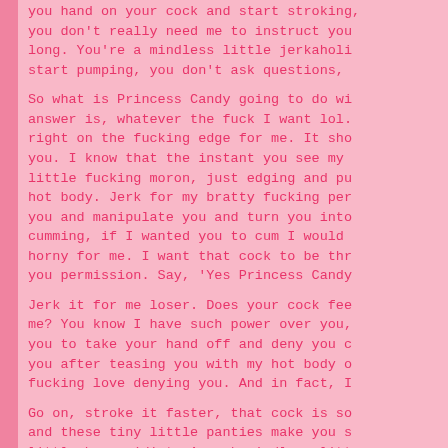you hand on your cock and start stroking, you don't really need me to instruct you long. You're a mindless little jerkaholic, start pumping, you don't ask questions,
So what is Princess Candy going to do wi answer is, whatever the fuck I want lol. right on the fucking edge for me. It sho you. I know that the instant you see my little fucking moron, just edging and pu hot body. Jerk for my bratty fucking per you and manipulate you and turn you into cumming, if I wanted you to cum I would horny for me. I want that cock to be thr you permission. Say, 'Yes Princess Candy
Jerk it for me loser. Does your cock fee me? You know I have such power over you, you to take your hand off and deny you c you after teasing you with my hot body o fucking love denying you. And in fact, I
Go on, stroke it faster, that cock is so and these tiny little panties make you s little horny idiot. A weak mindless litt instruction. You see I love denying you